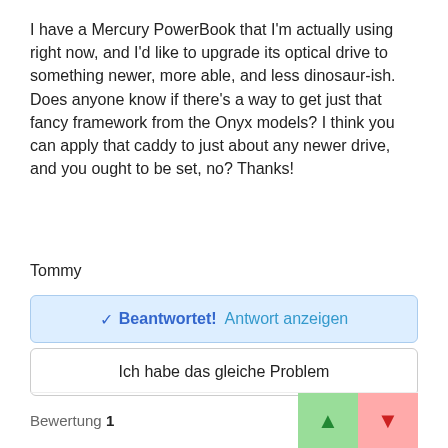I have a Mercury PowerBook that I'm actually using right now, and I'd like to upgrade its optical drive to something newer, more able, and less dinosaur-ish. Does anyone know if there's a way to get just that fancy framework from the Onyx models? I think you can apply that caddy to just about any newer drive, and you ought to be set, no? Thanks!
Tommy
✓ Beantwortet! Antwort anzeigen
Ich habe das gleiche Problem
Bewertung 1